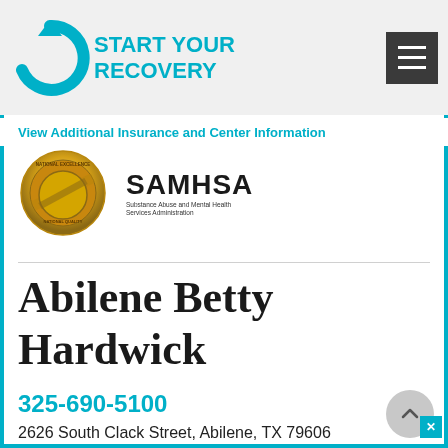Medication-Assisted Treatment for Alcohol
[Figure (logo): Start Your Recovery logo with circular arrow and teal text]
View Additional Insurance and Center Information
[Figure (logo): Gold CARF accreditation seal and SAMHSA logo (Substance Abuse and Mental Health Services Administration)]
Abilene Betty Hardwick
325-690-5100
2626 South Clack Street, Abilene, TX 79606